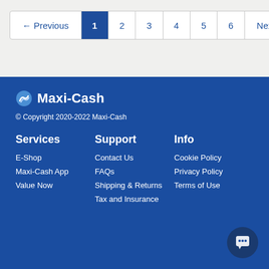← Previous 1 2 3 4 5 6 Next →
[Figure (logo): Maxi-Cash logo with swirl icon and bold text]
© Copyright 2020-2022 Maxi-Cash
Services
E-Shop
Maxi-Cash App
Value Now
Support
Contact Us
FAQs
Shipping & Returns
Tax and Insurance
Info
Cookie Policy
Privacy Policy
Terms of Use